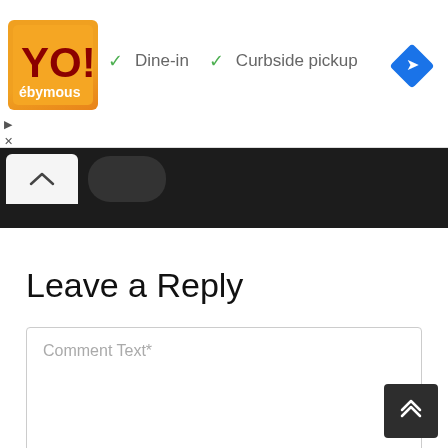[Figure (logo): Orange square logo with stylized text, restaurant ad banner with Dine-in and Curbside pickup checkmarks, and a blue diamond navigation icon]
✓ Dine-in  ✓ Curbside pickup
[Figure (screenshot): Dark navigation bar with a white up-chevron tab and a dark rounded blob]
Leave a Reply
Comment Text*